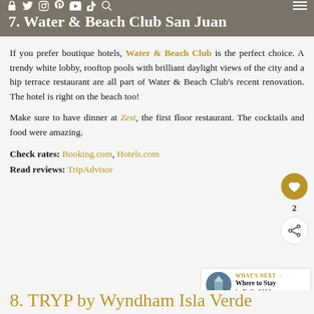7. Water & Beach Club San Juan
If you prefer boutique hotels, Water & Beach Club is the perfect choice. A trendy white lobby, rooftop pools with brilliant daylight views of the city and a hip terrace restaurant are all part of Water & Beach Club's recent renovation. The hotel is right on the beach too!
Make sure to have dinner at Zest, the first floor restaurant. The cocktails and food were amazing.
Check rates: Booking.com, Hotels.com
Read reviews: TripAdvisor
8. TRYP by Wyndham Isla Verde